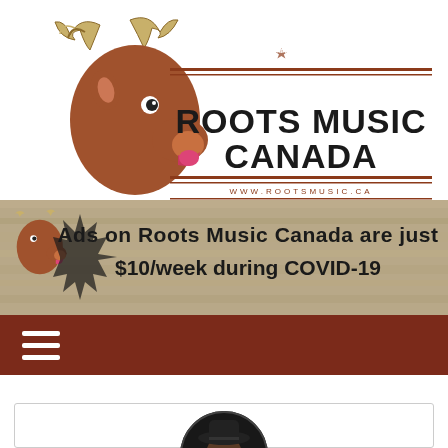[Figure (logo): Roots Music Canada logo with cartoon moose and bold text 'ROOTS MUSIC CANADA' with URL www.rootsmusic.ca]
[Figure (infographic): Banner advertisement: 'Ads on Roots Music Canada are just $10/week during COVID-19' on wood-grain background with moose mascot]
[Figure (illustration): Dark brown/maroon navigation bar with white hamburger menu icon (three horizontal lines)]
[Figure (photo): Circular cropped photo of artist wearing cowboy hat and sunglasses, dark background, inside a card with light border]